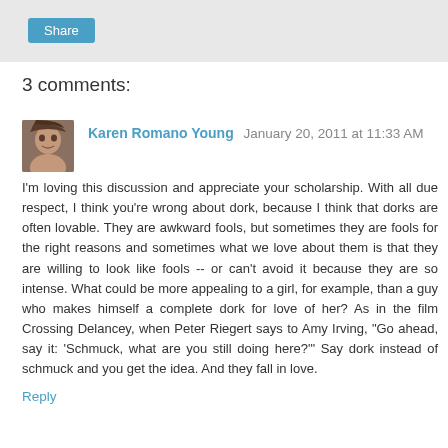Share
3 comments:
Karen Romano Young  January 20, 2011 at 11:33 AM
I'm loving this discussion and appreciate your scholarship. With all due respect, I think you're wrong about dork, because I think that dorks are often lovable. They are awkward fools, but sometimes they are fools for the right reasons and sometimes what we love about them is that they are willing to look like fools -- or can't avoid it because they are so intense. What could be more appealing to a girl, for example, than a guy who makes himself a complete dork for love of her? As in the film Crossing Delancey, when Peter Riegert says to Amy Irving, "Go ahead, say it: 'Schmuck, what are you still doing here?'" Say dork instead of schmuck and you get the idea. And they fall in love.
Reply